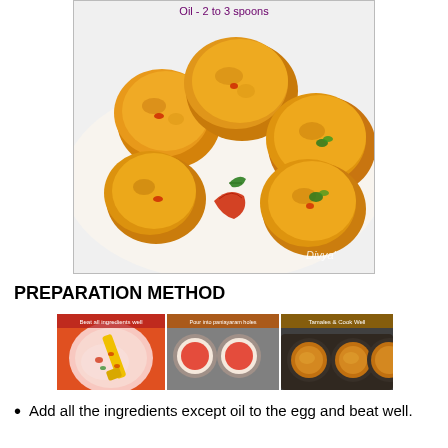[Figure (photo): Photo of golden-yellow egg muffin bites with red pepper and herb garnish, labeled 'Oil - 2 to 3 spoons' at top and 'Divya'' watermark at bottom right]
PREPARATION METHOD
[Figure (photo): Three step-by-step photos: 1) Beat all ingredients well (pink batter in orange bowl with yellow spatula), 2) Pour into paniayaram holes (red batter in muffin tin), 3) Tamales & Cook Well (cooked egg muffins in tin)]
Add all the ingredients except oil to the egg and beat well.